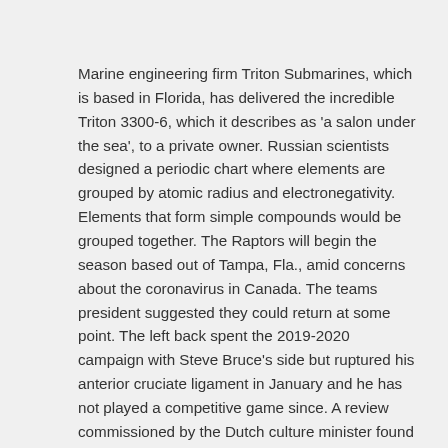Marine engineering firm Triton Submarines, which is based in Florida, has delivered the incredible Triton 3300-6, which it describes as 'a salon under the sea', to a private owner. Russian scientists designed a periodic chart where elements are grouped by atomic radius and electronegativity. Elements that form simple compounds would be grouped together. The Raptors will begin the season based out of Tampa, Fla., amid concerns about the coronavirus in Canada. The teams president suggested they could return at some point. The left back spent the 2019-2020 campaign with Steve Bruce's side but ruptured his anterior cruciate ligament in January and he has not played a competitive game since. A review commissioned by the Dutch culture minister found that the countrys art restitution panel showed too little empathy to victims of Nazi aggression and sided too often with museums. The build-up to Tuesday's key Group H encounter in Germany was dominated by Pogba's Old Trafford future after Raiola claimed his unhappy client would not sign a new deal and wanted to leave. Pulev is looking to cause an upset and his co-promoter believes Joshua's sparring partners are not up to the standard required to prepare him for the experienced 39-year-old. Koy Moore said on Twitter that police officers violated him numerous times Saturday night, leading the Baton Rouge Police Department to place three officers on paid leave amid an investigation. Local councils in Tier 3 in England will be paid14 for every test carried out in a bid to encourage widespread uptake. Officials will use the money to offer vouchers or discount schemes. Health officials in India have found excessive amounts of lead